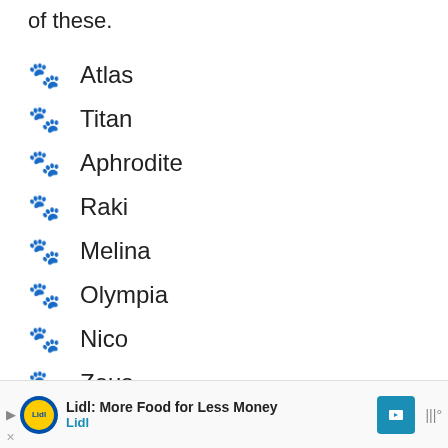of these.
🐾 Atlas
🐾 Titan
🐾 Aphrodite
🐾 Raki
🐾 Melina
🐾 Olympia
🐾 Nico
🐾 Zeus
🐾 Athens
[Figure (other): Advertisement bar: Lidl: More Food for Less Money, with Lidl logo and navigation icon]
[Figure (other): What's Next card showing German Shepherd...]
[Figure (other): Floating love/heart button and share button]